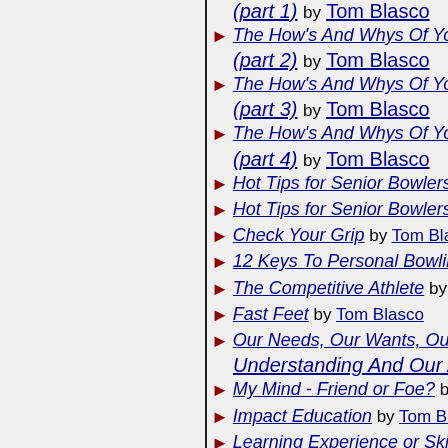The How's And Whys Of Yo... (part 1) by Tom Blasco
The How's And Whys Of Yo... (part 2) by Tom Blasco
The How's And Whys Of Yo... (part 3) by Tom Blasco
The How's And Whys Of Yo... (part 4) by Tom Blasco
Hot Tips for Senior Bowlers
Hot Tips for Senior Bowlers
Check Your Grip by Tom Blasco
12 Keys To Personal Bowlin...
The Competitive Athlete by ...
Fast Feet by Tom Blasco
Our Needs, Our Wants, Our Understanding And Our Awar...
My Mind - Friend or Foe? by ...
Impact Education by Tom Blas...
Learning Experience or Skil...
Managing Your Spare Game...
Travelling with Bowling Bal...
Bowling On The Sport Conc...
Through A Child's Eyes by G...